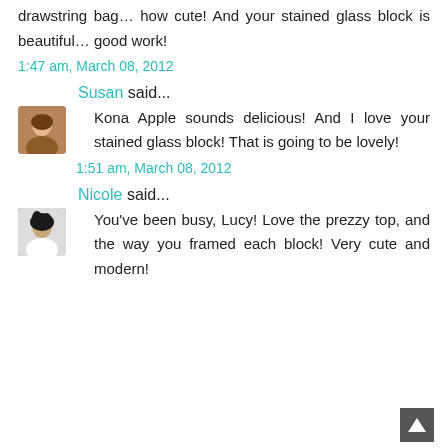drawstring bag… how cute! And your stained glass block is beautiful… good work!
1:47 am, March 08, 2012
Susan said...
[Figure (photo): Avatar photo of Susan]
Kona Apple sounds delicious! And I love your stained glass block! That is going to be lovely!
1:51 am, March 08, 2012
Nicole said...
[Figure (photo): Avatar photo of Nicole]
You've been busy, Lucy! Love the prezzy top, and the way you framed each block! Very cute and modern!